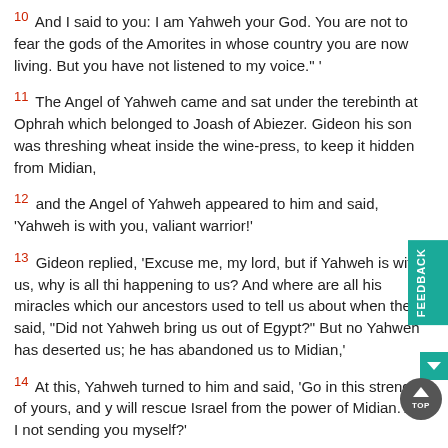10 And I said to you: I am Yahweh your God. You are not to fear the gods of the Amorites in whose country you are now living. But you have not listened to my voice." '
11 The Angel of Yahweh came and sat under the terebinth at Ophrah which belonged to Joash of Abiezer. Gideon his son was threshing wheat inside the wine-press, to keep it hidden from Midian,
12 and the Angel of Yahweh appeared to him and said, 'Yahweh is with you, valiant warrior!'
13 Gideon replied, 'Excuse me, my lord, but if Yahweh is with us, why is all this happening to us? And where are all his miracles which our ancestors used to tell us about when they said, "Did not Yahweh bring us out of Egypt?" But now Yahweh has deserted us; he has abandoned us to Midian,'
14 At this, Yahweh turned to him and said, 'Go in this strength of yours, and you will rescue Israel from the power of Midian. Am I not sending you myself?'
15 Gideon replied, 'Forgive me, my lord, but how can I deliver Israel? My clan is the weakest in Manasseh and I am the least important of my father's family.'
16 ...